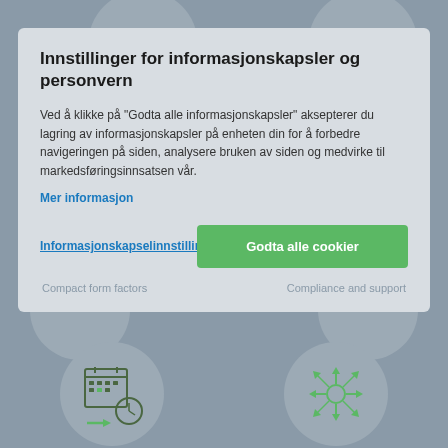[Figure (screenshot): Cookie consent modal overlay on a Norwegian website with background icons for multiple connectivity, compact form factors, and compliance and support circles]
Innstillinger for informasjonskapsler og personvern
Ved å klikke på "Godta alle informasjonskapsler" aksepterer du lagring av informasjonskapsler på enheten din for å forbedre navigeringen på siden, analysere bruken av siden og medvirke til markedsføringsinnsatsen vår.
Mer informasjon
Informasjonskapselsinnstillinger
Godta alle cookier
Compact form factors
Compliance and support